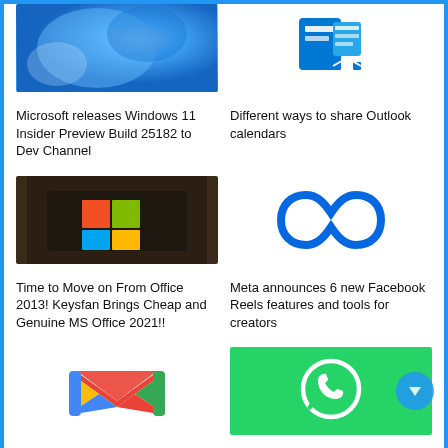[Figure (photo): Windows 11 blue abstract wallpaper]
[Figure (logo): Microsoft Outlook logo (blue icon)]
Microsoft releases Windows 11 Insider Preview Build 25182 to Dev Channel
Different ways to share Outlook calendars
[Figure (photo): Microsoft Office logo on a laptop screen]
[Figure (logo): Meta (Facebook) logo blue infinity symbol]
Time to Move on From Office 2013! Keysfan Brings Cheap and Genuine MS Office 2021!!
Meta announces 6 new Facebook Reels features and tools for creators
[Figure (logo): Gmail logo colorful M]
[Figure (logo): WhatsApp logo white phone icon on green background]
Gmail for Android is now optimized for Surface Duo
New Windows-native WhatsApp application now